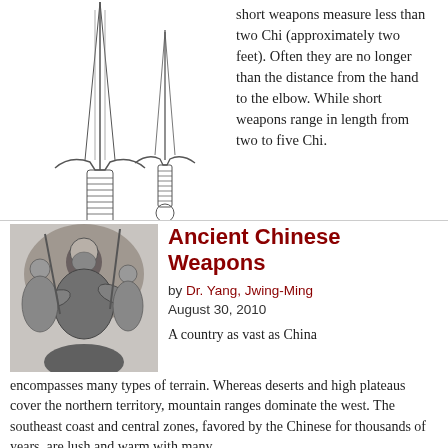short weapons measure less than two Chi (approximately two feet). Often they are no longer than the distance from the hand to the elbow. While short weapons range in length from two to five Chi.
[Figure (illustration): Line drawings of two Chinese swords (jian/dao style) showing handles with guards and pommels, blades pointing upward]
[Figure (illustration): Black and white historical illustration of ancient Chinese warriors in battle]
Ancient Chinese Weapons
by Dr. Yang, Jwing-Ming
August 30, 2010
A country as vast as China encompasses many types of terrain. Whereas deserts and high plateaus cover the northern territory, mountain ranges dominate the west. The southeast coast and central zones, favored by the Chinese for thousands of years, are lush and warm with many